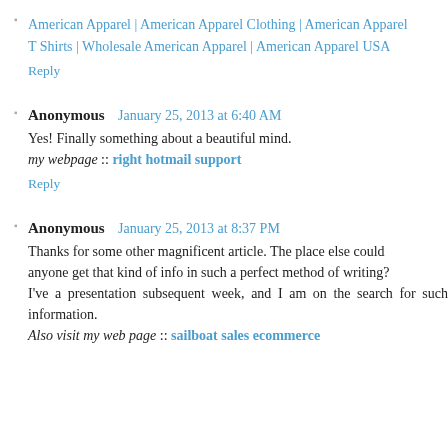American Apparel | American Apparel Clothing | American Apparel T Shirts | Wholesale American Apparel | American Apparel USA
Reply
Anonymous  January 25, 2013 at 6:40 AM
Yes! Finally something about a beautiful mind.
my webpage :: right hotmail support
Reply
Anonymous  January 25, 2013 at 8:37 PM
Thanks for some other magnificent article. The place else could anyone get that kind of info in such a perfect method of writing? I've a presentation subsequent week, and I am on the search for such information.
Also visit my web page :: sailboat sales ecommerce